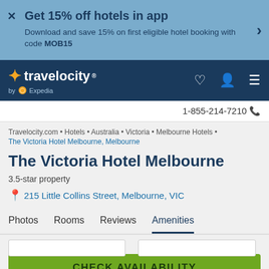Get 15% off hotels in app
Download and save 15% on first eligible hotel booking with code MOB15
[Figure (logo): Travelocity by Expedia logo on dark blue navigation bar]
1-855-214-7210
Travelocity.com • Hotels • Australia • Victoria • Melbourne Hotels • The Victoria Hotel Melbourne, Melbourne
The Victoria Hotel Melbourne
3.5-star property
215 Little Collins Street, Melbourne, VIC
Photos  Rooms  Reviews  Amenities
CHECK AVAILABILITY